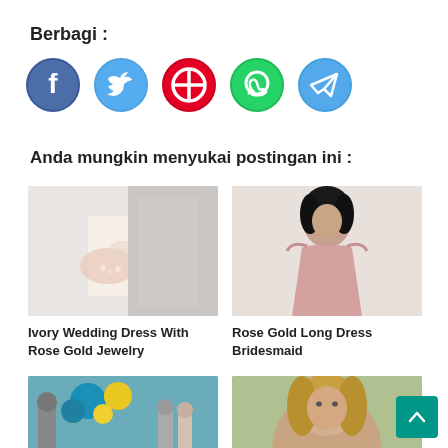Berbagi :
[Figure (infographic): Five social media share icons: Facebook, Twitter, Pinterest, WhatsApp, Telegram]
Anda mungkin menyukai postingan ini :
[Figure (photo): Close-up of ivory wedding dress with rose gold details]
Ivory Wedding Dress With Rose Gold Jewelry
[Figure (photo): Woman in rose gold long bridesmaid dress]
Rose Gold Long Dress Bridesmaid
[Figure (photo): Wedding scene with blue and yellow flowers]
[Figure (photo): Portrait of a woman with blonde hair outdoors]